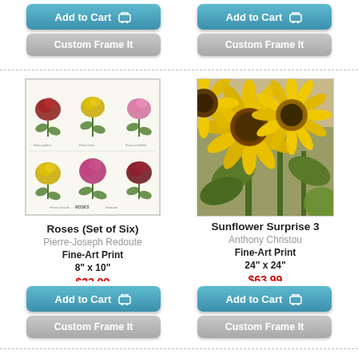[Figure (screenshot): Add to Cart button (top left)]
[Figure (screenshot): Custom Frame It button (top left)]
[Figure (screenshot): Add to Cart button (top right)]
[Figure (screenshot): Custom Frame It button (top right)]
[Figure (illustration): Botanical illustration showing a set of six roses - red, yellow, and pink varieties with green leaves on white background]
Roses (Set of Six)
Pierre-Joseph Redoute
Fine-Art Print
8" x 10"
$23.99
Ships within 6-8 days
[Figure (photo): Close-up photo of bright yellow sunflowers with green leaves and stems]
Sunflower Surprise 3
Anthony Christou
Fine-Art Print
24" x 24"
$63.99
Ships within 2-4 days
[Figure (screenshot): Add to Cart button (bottom left)]
[Figure (screenshot): Custom Frame It button (bottom left)]
[Figure (screenshot): Add to Cart button (bottom right)]
[Figure (screenshot): Custom Frame It button (bottom right)]